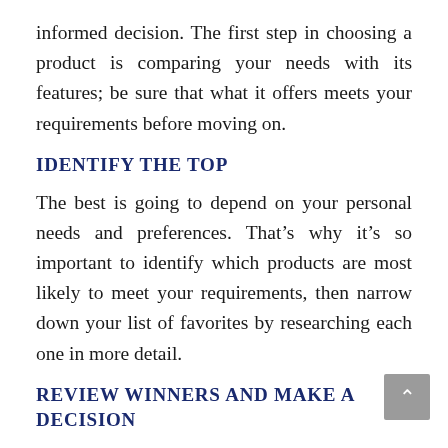informed decision. The first step in choosing a product is comparing your needs with its features; be sure that what it offers meets your requirements before moving on.
IDENTIFY THE TOP
The best is going to depend on your personal needs and preferences. That's why it's so important to identify which products are most likely to meet your requirements, then narrow down your list of favorites by researching each one in more detail.
REVIEW WINNERS AND MAKE A DECISION
Once you've conducted your research, assess